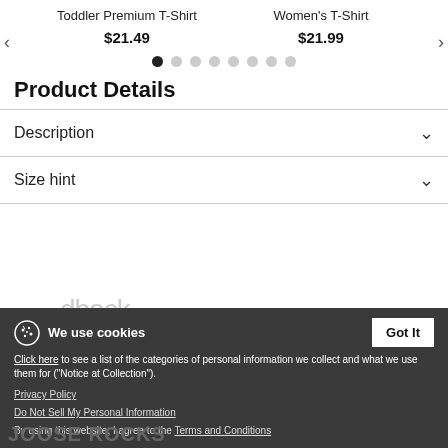Toddler Premium T-Shirt $21.49
Women's T-Shirt $21.99
[Figure (other): Carousel navigation dots: 1 active (black), 7 inactive (gray)]
Product Details
Description
Size hint
We use cookies
Click here to see a list of the categories of personal information we collect and what we use them for ("Notice at Collection").
Privacy Policy
Do Not Sell My Personal Information
By using this website, I agree to the Terms and Conditions